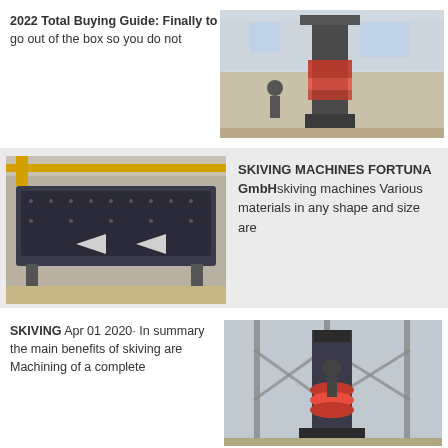2022 Total Buying Guide: Finally to go out of the box so you do not
[Figure (photo): Industrial hydraulic press machine in a factory setting]
[Figure (photo): Large industrial vibrating screen / sieving machine in a warehouse]
SKIVING MACHINES FORTUNA GmbHskiving machines Various materials in any shape and size are
SKIVING Apr 01 2020· In summary the main benefits of skiving are Machining of a complete
[Figure (photo): Industrial grinding or milling machine inside a factory building]